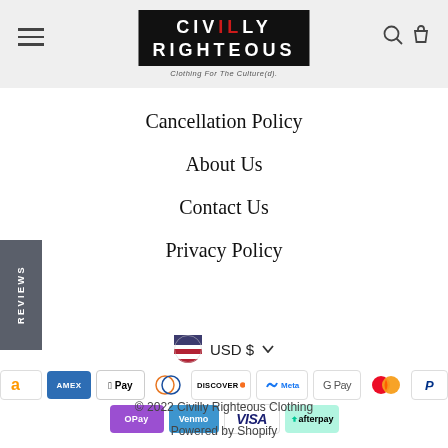[Figure (logo): Civilly Righteous clothing brand logo with black background and red accent letters, tagline: Clothing For The Culture(d).]
Cancellation Policy
About Us
Contact Us
Privacy Policy
USD $ ∨
[Figure (infographic): Row of payment method icons: Amazon, AMEX, Apple Pay, Diners Club, Discover, Meta Pay, Google Pay, Mastercard, PayPal, OPay, Venmo, VISA, Afterpay]
© 2022 Civilly Righteous Clothing
Powered by Shopify